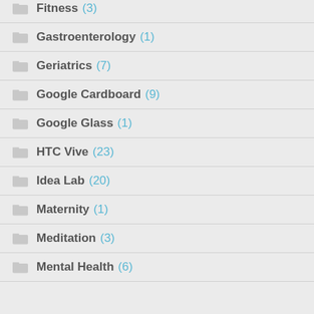Fitness (3)
Gastroenterology (1)
Geriatrics (7)
Google Cardboard (9)
Google Glass (1)
HTC Vive (23)
Idea Lab (20)
Maternity (1)
Meditation (3)
Mental Health (6)